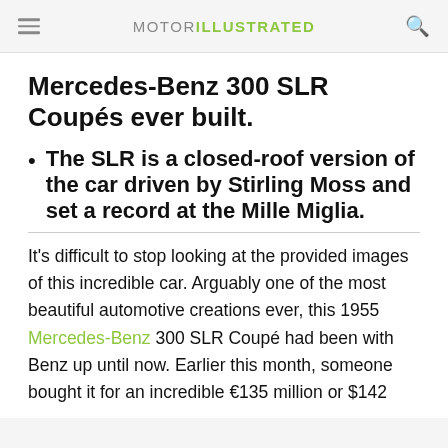MOTOR ILLUSTRATED
Mercedes-Benz 300 SLR Coupés ever built.
The SLR is a closed-roof version of the car driven by Stirling Moss and set a record at the Mille Miglia.
It's difficult to stop looking at the provided images of this incredible car. Arguably one of the most beautiful automotive creations ever, this 1955 Mercedes-Benz 300 SLR Coupé had been with Benz up until now. Earlier this month, someone bought it for an incredible €135 million or $142